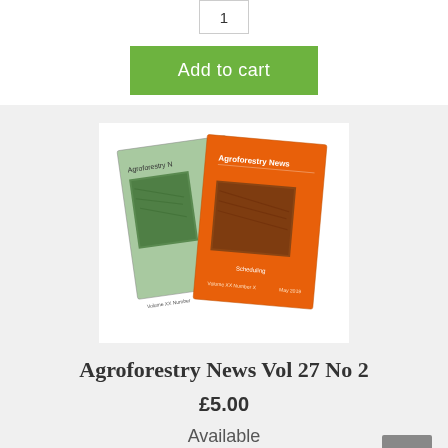1
Add to cart
[Figure (photo): Two Agroforestry News magazine issues — one green-covered and one orange-covered — overlapping each other on a white background.]
Agroforestry News Vol 27 No 2
£5.00
Available